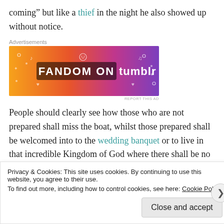coming” but like a thief in the night he also showed up without notice.
Advertisements
[Figure (illustration): Fandom on Tumblr advertisement banner with orange-to-purple gradient background and white doodle icons]
People should clearly see how those who are not prepared shall miss the boat, whilst those prepared shall be welcomed into to the wedding banquet or to live in that incredible Kingdom of God where there shall be no war, crime, hunger,
Privacy & Cookies: This site uses cookies. By continuing to use this website, you agree to their use.
To find out more, including how to control cookies, see here: Cookie Policy
Close and accept